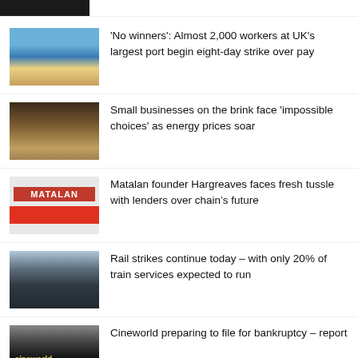[Figure (photo): Dark close-up photo, partially cropped at top]
[Figure (photo): Aerial view of UK's largest port with shipping containers and workers]
'No winners': Almost 2,000 workers at UK's largest port begin eight-day strike over pay
[Figure (photo): Small business shop interior scene]
Small businesses on the brink face 'impossible choices' as energy prices soar
[Figure (photo): Matalan store front with red signage]
Matalan founder Hargreaves faces fresh tussle with lenders over chain's future
[Figure (photo): Empty rail station platform with curved tracks]
Rail strikes continue today – with only 20% of train services expected to run
[Figure (photo): Cineworld cinema exterior sign]
Cineworld preparing to file for bankruptcy – report